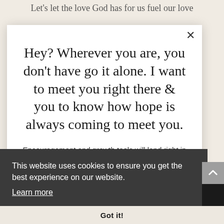Let's let the love God has for us fuel our love
Hey? Wherever you are, you don't have go it alone. I want to meet you right there & you to know how hope is always coming to meet you.
Encouragement and growth tools will land right in your inbox as we walk the Way - together.
This website uses cookies to ensure you get the best experience on our website.
Learn more
Got it!